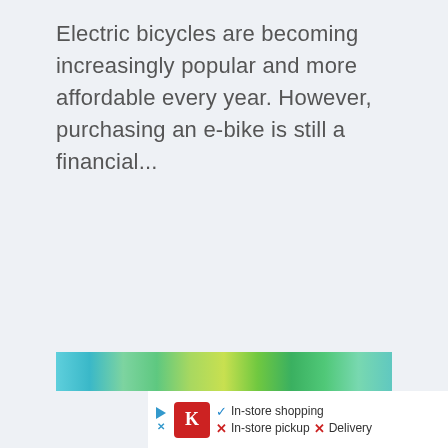Electric bicycles are becoming increasingly popular and more affordable every year. However, purchasing an e-bike is still a financial...
[Figure (photo): Partially visible blurred outdoor photo with teal/blue and green tones, appears to be foliage or nature scene]
[Figure (infographic): Advertisement bar: Kroger store logo (red K), In-store shopping (checkmark), In-store pickup (X), Delivery (X), navigation arrow diamond icon]